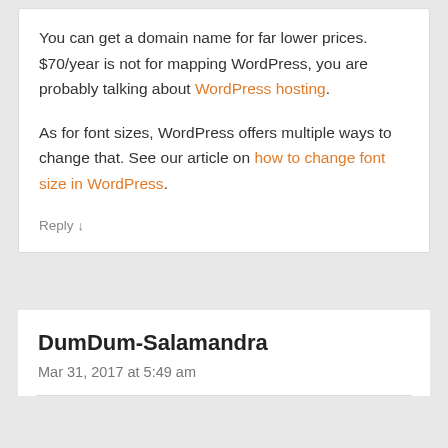You can get a domain name for far lower prices. $70/year is not for mapping WordPress, you are probably talking about WordPress hosting.
As for font sizes, WordPress offers multiple ways to change that. See our article on how to change font size in WordPress.
Reply ↓
DumDum-Salamandra
Mar 31, 2017 at 5:49 am